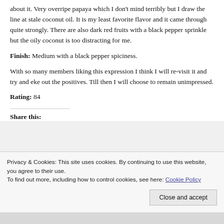about it. Very overripe papaya which I don't mind terribly but I draw the line at stale coconut oil. It is my least favorite flavor and it came through quite strongly. There are also dark red fruits with a black pepper sprinkle but the oily coconut is too distracting for me.
Finish: Medium with a black pepper spiciness.
With so many members liking this expression I think I will re-visit it and try and eke out the positives. Till then I will choose to remain unimpressed.
Rating: 84
Share this:
Privacy & Cookies: This site uses cookies. By continuing to use this website, you agree to their use.
To find out more, including how to control cookies, see here: Cookie Policy
Close and accept